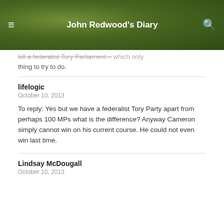John Redwood's Diary
... a federalist Tory Parliament – which only thing to try to do.
lifelogic
October 10, 2013

To reply: Yes but we have a federalist Tory Party apart from perhaps 100 MPs what is the difference? Anyway Cameron simply cannot win on his current course. He could not even win last time.
Lindsay McDougall
October 10, 2013